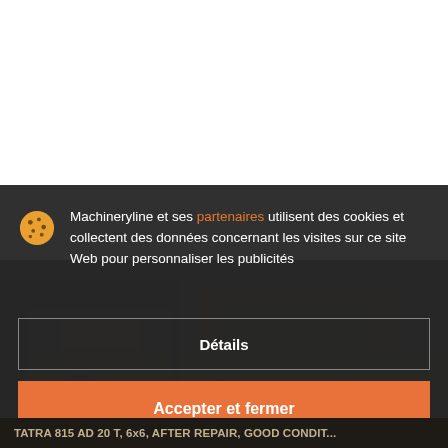[Figure (screenshot): White area at the top representing a webpage background before the cookie overlay]
[Figure (photo): Dark background showing a TATRA truck image partially visible behind the cookie consent overlay]
Machineryline et ses partenaires utilisent des cookies et collectent des données concernant les visites sur ce site Web pour personnaliser les publicités
Détails
Accepter et fermer
TATRA 815 AD 20 T, 6x6, AFTER REPAIR, GOOD CONDIT...